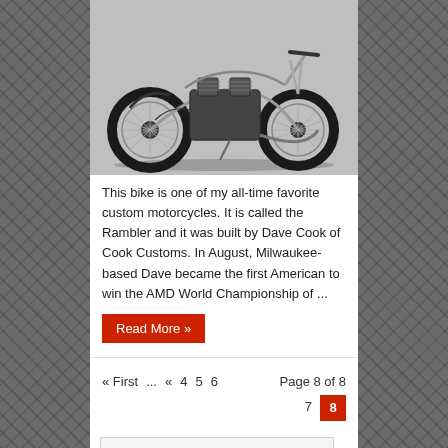[Figure (photo): Custom motorcycle called the Rambler, a stripped-down chopper/bobber style bike with exposed engine, spoked wheels, and minimalist frame, photographed against a light grey background.]
This bike is one of my all-time favorite custom motorcycles. It is called the Rambler and it was built by Dave Cook of Cook Customs. In August, Milwaukee-based Dave became the first American to win the AMD World Championship of ...
Read More »
« First ... « 4 5 6 Page 8 of 8 7 8
to search type and hit enter
[Figure (photo): Partially visible image at the bottom of the page, appears to be a grey/white rectangle.]